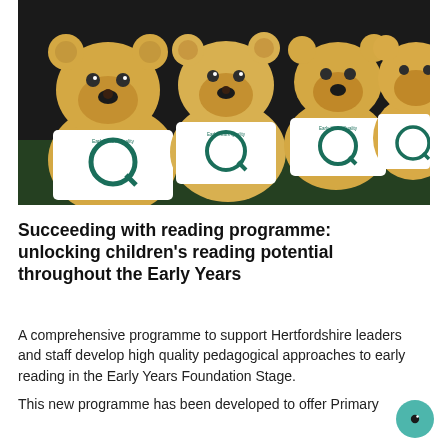[Figure (photo): A group of golden teddy bears arranged together, each wearing a white t-shirt with a large green letter Q and the text 'Early Years Quality Standards' around it. The bears are on a green surface against a dark background.]
Succeeding with reading programme: unlocking children's reading potential throughout the Early Years
A comprehensive programme to support Hertfordshire leaders and staff develop high quality pedagogical approaches to early reading in the Early Years Foundation Stage.
This new programme has been developed to offer Primary